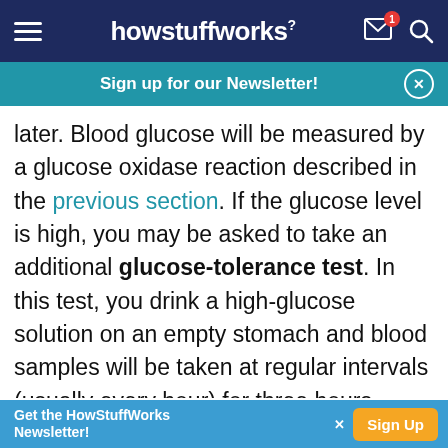howstuffworks - navigation bar with hamburger menu, logo, mail icon with badge 1, and search icon
Sign up for our Newsletter!
later. Blood glucose will be measured by a glucose oxidase reaction described in the previous section. If the glucose level is high, you may be asked to take an additional glucose-tolerance test. In this test, you drink a high-glucose solution on an empty stomach and blood samples will be taken at regular intervals (usually every hour) for three hours. Blood glucose levels will be measured again. The timecourse information from a glucose tolerance test is a better indication of your body's response to
Get the HowStuffWorks Newsletter! Sign Up